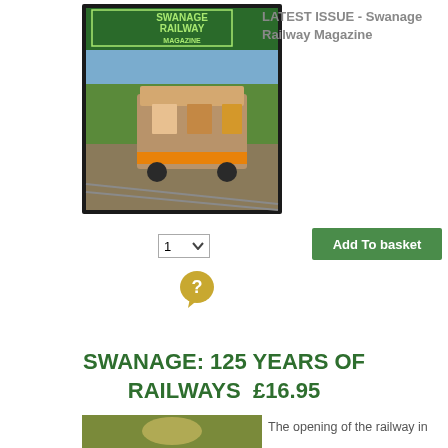[Figure (photo): Cover of Swanage Railway Magazine showing a train carriage on a rural railway track with green hills in background. Green header with 'SWANAGE RAILWAY MAGAZINE' text.]
LATEST ISSUE - Swanage Railway Magazine
[Figure (screenshot): Quantity dropdown selector showing '1' with a down arrow]
[Figure (other): Green 'Add To basket' button]
[Figure (other): Gold/yellow question mark speech bubble help icon]
SWANAGE: 125 YEARS OF RAILWAYS  £16.95
[Figure (photo): Partial book cover thumbnail with olive/green coloring]
The opening of the railway in